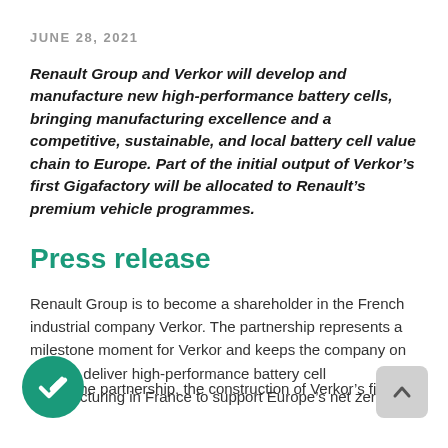JUNE 28, 2021
Renault Group and Verkor will develop and manufacture new high-performance battery cells, bringing manufacturing excellence and a competitive, sustainable, and local battery cell value chain to Europe. Part of the initial output of Verkor's first Gigafactory will be allocated to Renault's premium vehicle programmes.
Press release
Renault Group is to become a shareholder in the French industrial company Verkor. The partnership represents a milestone moment for Verkor and keeps the company on track to deliver high-performance battery cell manufacturing in France to support Europe's net zero g...
Under the partnership, the construction of Verkor's first